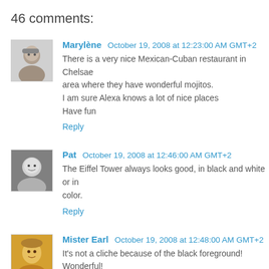46 comments:
Marylène October 19, 2008 at 12:23:00 AM GMT+2
There is a very nice Mexican-Cuban restaurant in Chelsae area where they have wonderful mojitos.
I am sure Alexa knows a lot of nice places
Have fun
Reply
Pat October 19, 2008 at 12:46:00 AM GMT+2
The Eiffel Tower always looks good, in black and white or in color.
Reply
Mister Earl October 19, 2008 at 12:48:00 AM GMT+2
It's not a cliche because of the black foreground! Wonderful!